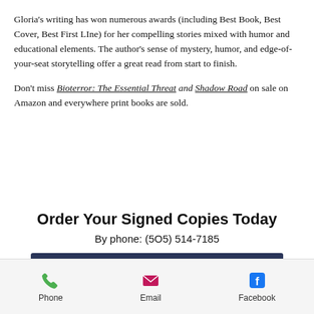Gloria's writing has won numerous awards (including Best Book, Best Cover, Best First LIne) for her compelling stories mixed with humor and educational elements. The author's sense of mystery, humor, and edge-of-your-seat storytelling offer a great read from start to finish.
Don't miss Bioterror: The Essential Threat and Shadow Road on sale on Amazon and everywhere print books are sold.
Order Your Signed Copies Today
By phone: (5O5) 514-7185
[Figure (other): Dark navy blue 'Buy Now' button]
[Figure (other): Scroll-to-top circular button with upward chevron]
[Figure (other): Footer bar with Phone (green icon), Email (pink icon), Facebook (blue icon) links]